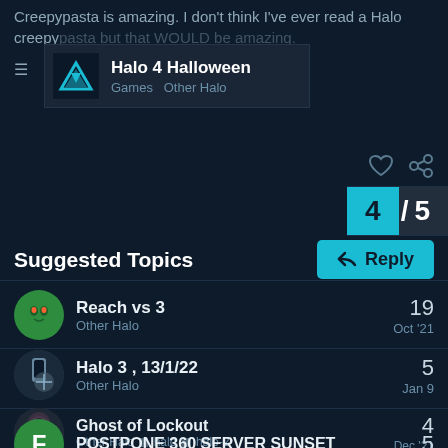Creepypasta is amazing. I don't think I've ever read a Halo creepypasta but that WOULD be amazing.
Halo 4 Halloween
Games  Other Halo
4/5
Reply
Suggested Topics
Reach vs 3 | Other Halo | 19 | Oct '21
Halo 3 , 13/1/22 | Other Halo | 5 | Jan 9
Ghost of Lockout | Other Halo halo halo-2 | 4 | Dec '21
POSTPONE 360 SERVER SUNSET | 5